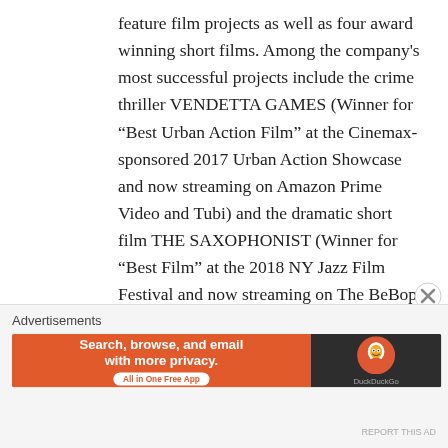feature film projects as well as four award winning short films. Among the company's most successful projects include the crime thriller VENDETTA GAMES (Winner for “Best Urban Action Film” at the Cinemax-sponsored 2017 Urban Action Showcase and now streaming on Amazon Prime Video and Tubi) and the dramatic short film THE SAXOPHONIST (Winner for “Best Film” at the 2018 NY Jazz Film Festival and now streaming on The BeBop Channel app). As of 2021, André is currently in post-production on his next short film, DISMISSAL TIME, an anti-bullying tale
Advertisements
[Figure (other): DuckDuckGo advertisement banner: orange left side with text 'Search, browse, and email with more privacy. All in One Free App' and dark right side with DuckDuckGo logo.]